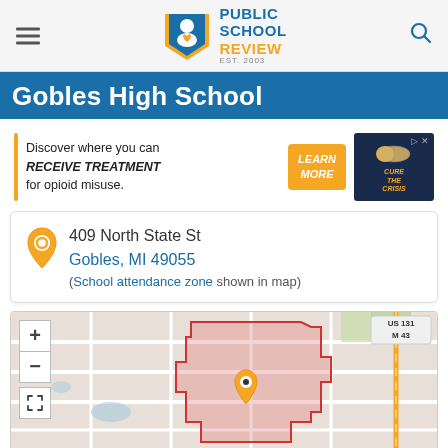[Figure (logo): Public School Review logo with blue and orange text and shield icon. EST. 2003.]
Gobles High School
[Figure (infographic): Advertisement banner: Discover where you can RECEIVE TREATMENT for opioid misuse. Learn More button. Cure The Crisis image.]
409 North State St
Gobles, MI 49055
(School attendance zone shown in map)
[Figure (map): Interactive map showing Gobles High School location at 409 North State St, Gobles MI 49055 with school attendance zone highlighted in pink/red outline. US 131 M 43 highway visible on right. Map controls: +, -, and expand buttons.]